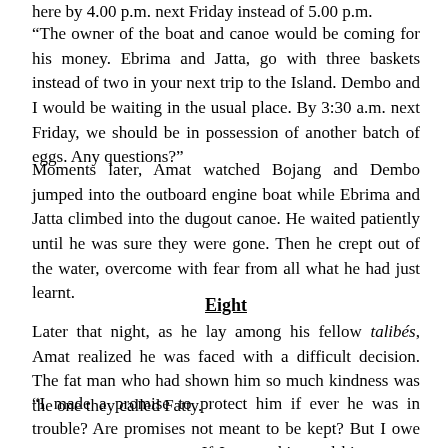here by 4.00 p.m. next Friday instead of 5.00 p.m.
“The owner of the boat and canoe would be coming for his money. Ebrima and Jatta, go with three baskets instead of two in your next trip to the Island. Dembo and I would be waiting in the usual place. By 3:30 a.m. next Friday, we should be in possession of another batch of eggs. Any questions?”
Moments later, Amat watched Bojang and Dembo jumped into the outboard engine boat while Ebrima and Jatta climbed into the dugout canoe. He waited patiently until he was sure they were gone. Then he crept out of the water, overcome with fear from all what he had just learnt.
Eight
Later that night, as he lay among his fellow talibés, Amat realized he was faced with a difficult decision. The fat man who had shown him so much kindness was the one they called Fatty.
“I made a promise to protect him if ever he was in trouble? Are promises not meant to be kept? But I owe my country even more. If I report him and his gang to the police, I’ll be helping my country.”